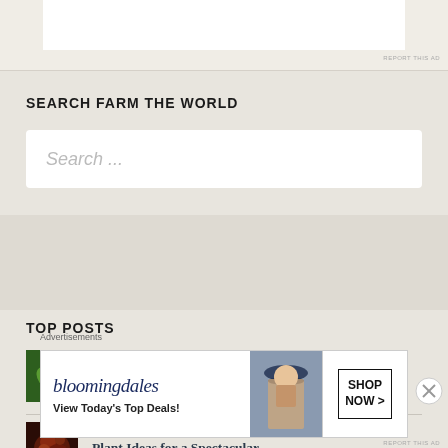[Figure (other): Advertisement banner at top of page, partially visible]
REPORT THIS AD
SEARCH FARM THE WORLD
Search ...
TOP POSTS
[Figure (photo): Thumbnail of cannabis plant with green leaves]
How to Propagate Cannabis Clones from Cuttings
[Figure (photo): Thumbnail of dark reddish plant image]
Plant Ideas for a Spectacular
Advertisements
[Figure (other): Bloomingdales advertisement banner showing logo, 'View Today's Top Deals!' text, model with hat, and Shop Now button]